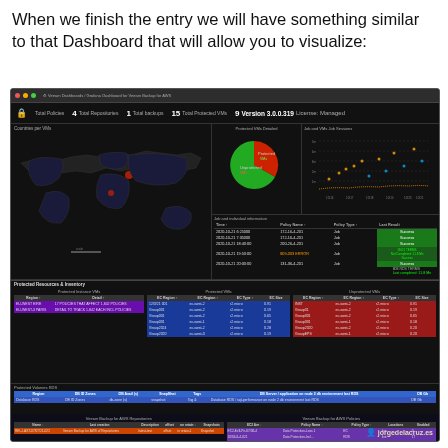When we finish the entry we will have something similar to that Dashboard that will allow you to visualize:
[Figure (screenshot): A dark-themed monitoring dashboard showing AWS backup metrics. Includes a world map with highlighted regions, a pie chart showing protected vs unprotected VMs, a scatter/dot chart, job tables with green status cells, protected resources inventory tables in purple/blue/red color coding, and AWS backup tables at the bottom. Header shows metrics: Total Policies=4, Total Repositories=1, Total backups=15, Total Protected VMs=9, Version 3.0.0.319 License: Managed. Watermark: jorgedelacruz.es]